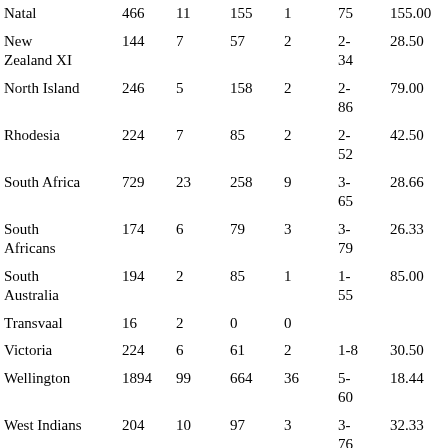| Team | Runs | Wkts | Runs | Wkts | Best | Avg |  |  |
| --- | --- | --- | --- | --- | --- | --- | --- | --- |
| Natal | 466 | 11 | 155 | 1 | 75 | 155.00 | 0 | 0 |
| New Zealand XI | 144 | 7 | 57 | 2 | 2-34 | 28.50 | 0 | 0 |
| North Island | 246 | 5 | 158 | 2 | 2-86 | 79.00 | 0 | 0 |
| Rhodesia | 224 | 7 | 85 | 2 | 2-52 | 42.50 | 0 | 0 |
| South Africa | 729 | 23 | 258 | 9 | 3-65 | 28.66 | 0 | 0 |
| South Africans | 174 | 6 | 79 | 3 | 3-79 | 26.33 | 0 | 0 |
| South Australia | 194 | 2 | 85 | 1 | 1-55 | 85.00 | 0 | 0 |
| Transvaal | 16 | 2 | 0 | 0 |  |  |  |  |
| Victoria | 224 | 6 | 61 | 2 | 1-8 | 30.50 | 0 | 0 |
| Wellington | 1894 | 99 | 664 | 36 | 5-60 | 18.44 | 1 | 0 |
| West Indians | 204 | 10 | 97 | 3 | 3-76 | 32.33 | 0 | 0 |
| Western Australia | 208 | 7 | 82 | 8 | 7-52 | 10.25 | 1 | 0 |
| Western Province | 344 | 14 | 108 | 5 | 4-51 | 21.60 | 0 | 0 |